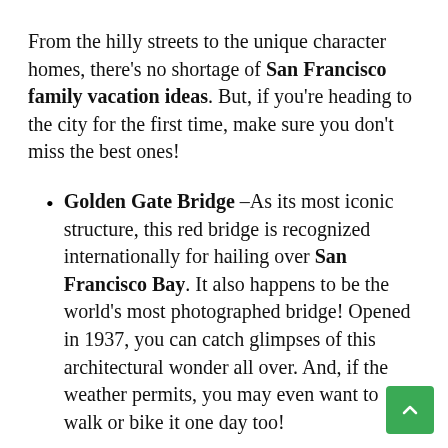From the hilly streets to the unique character homes, there's no shortage of San Francisco family vacation ideas. But, if you're heading to the city for the first time, make sure you don't miss the best ones!
Golden Gate Bridge –As its most iconic structure, this red bridge is recognized internationally for hailing over San Francisco Bay. It also happens to be the world's most photographed bridge! Opened in 1937, you can catch glimpses of this architectural wonder all over. And, if the weather permits, you may even want to walk or bike it one day too!